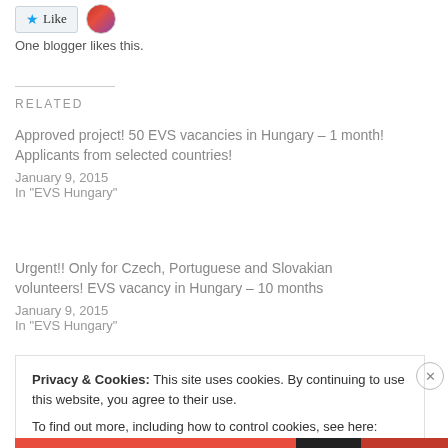[Figure (other): Like button with blue star icon and profile avatar image]
One blogger likes this.
RELATED
Approved project! 50 EVS vacancies in Hungary – 1 month! Applicants from selected countries!
January 9, 2015
In "EVS Hungary"
Urgent!! Only for Czech, Portuguese and Slovakian volunteers! EVS vacancy in Hungary – 10 months
January 9, 2015
In "EVS Hungary"
Privacy & Cookies: This site uses cookies. By continuing to use this website, you agree to their use.
To find out more, including how to control cookies, see here: Cookie Policy
Close and accept